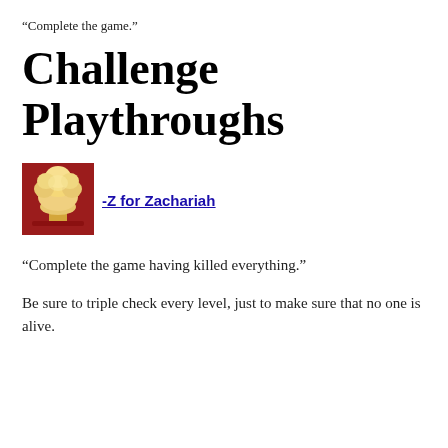“Complete the game.”
Challenge Playthroughs
[Figure (illustration): Red square icon showing a pixel-art mushroom cloud explosion on a red background]
-Z for Zachariah
“Complete the game having killed everything.”
Be sure to triple check every level, just to make sure that no one is alive.